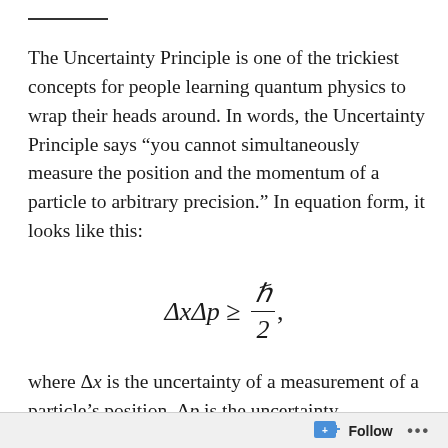The Uncertainty Principle is one of the trickiest concepts for people learning quantum physics to wrap their heads around. In words, the Uncertainty Principle says “you cannot simultaneously measure the position and the momentum of a particle to arbitrary precision.” In equation form, it looks like this:
where Δx is the uncertainty of a measurement of a particle’s position, Δp is the uncertainty
Follow ...